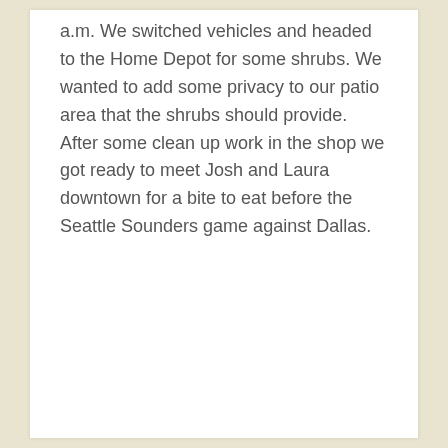a.m. We switched vehicles and headed to the Home Depot for some shrubs. We wanted to add some privacy to our patio area that the shrubs should provide. After some clean up work in the shop we got ready to meet Josh and Laura downtown for a bite to eat before the Seattle Sounders game against Dallas.